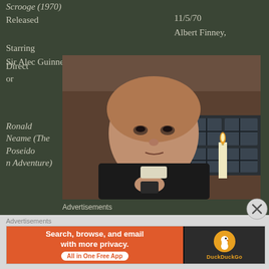Scrooge (1970)
Released	11/5/70
Starring	Albert Finney, Sir Alec Guinness
Director	Ronald Neame (The Poseidon Adventure)
[Figure (photo): Film still from Scrooge (1970) showing an older man with disheveled reddish-gray hair, wearing a dark coat, holding something small in his hands. A lit candle is visible in the background.]
Advertisements
Advertisements
Search, browse, and email with more privacy. All in One Free App
DuckDuckGo